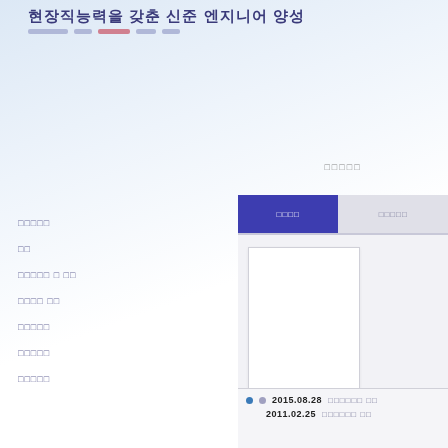현장직능력을 갖춘 신준 엔지니어 양성
□□□□□□
□□□□□□ □ □□
□□□□□□□
□□□□□□□□
□□□□
□□
□□□□□ □ □□
□□□□ □□
□□□□□
□□□□□
□□□□□
□□□□
□□□□□□□ □□□
□ □   2015.08.28  □□□□□□ □□
2011.02.25  □□□□□□ □□